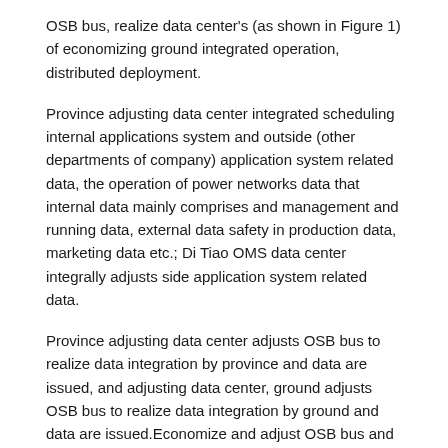OSB bus, realize data center's (as shown in Figure 1) of economizing ground integrated operation, distributed deployment.
Province adjusting data center integrated scheduling internal applications system and outside (other departments of company) application system related data, the operation of power networks data that internal data mainly comprises and management and running data, external data safety in production data, marketing data etc.; Di Tiao OMS data center integrally adjusts side application system related data.
Province adjusting data center adjusts OSB bus to realize data integration by province and data are issued, and adjusting data center, ground adjusts OSB bus to realize data integration by ground and data are issued.Economize and adjust OSB bus and ground to adjust OSB bus interconnection, form a complete data integration interaction platform (as shown in Figure 2).
1.2. panorama model modeling
The effect of panorama data modeling is at complete, a